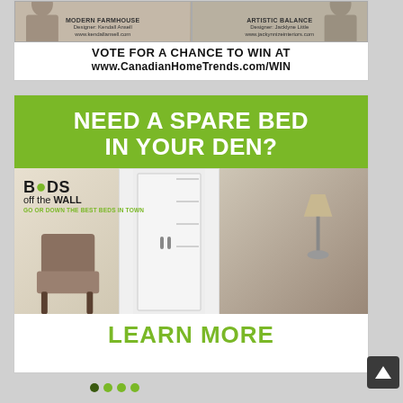[Figure (illustration): Top advertisement banner with two interior design photos side by side (Modern Farmhouse by Designer Kendall Ansell and Artistic Balance by Designer Jacklyne Little) with text VOTE FOR A CHANCE TO WIN AT www.CanadianHomeTrends.com/WIN]
VOTE FOR A CHANCE TO WIN AT www.CanadianHomeTrends.com/WIN
[Figure (illustration): Advertisement for Beds off the Wall. Green banner at top reads NEED A SPARE BED IN YOUR DEN? Below is a photo of a murphy bed/wall bed unit with Beds off the Wall branding logo, showing a living room scene with chair and lamp. Below photo reads LEARN MORE in green text.]